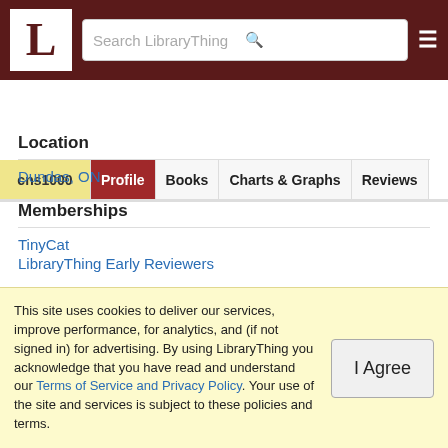LibraryThing header with logo L, search bar, and hamburger menu
cns1000 | Profile | Books | Charts & Graphs | Reviews
Location
Dundas, ON
Memberships
TinyCat
LibraryThing Early Reviewers
Favorite Lists
, 50 Tough Books for Extreme Readers, 501 Must-Read Books, Actors, All Things India, Amanda's Guaranteed Books, Amazon's
This site uses cookies to deliver our services, improve performance, for analytics, and (if not signed in) for advertising. By using LibraryThing you acknowledge that you have read and understand our Terms of Service and Privacy Policy. Your use of the site and services is subject to these policies and terms.